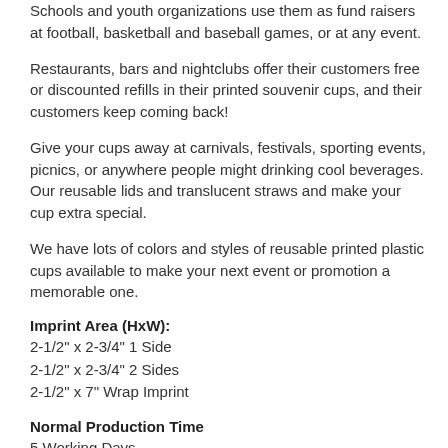Schools and youth organizations use them as fund raisers at football, basketball and baseball games, or at any event.
Restaurants, bars and nightclubs offer their customers free or discounted refills in their printed souvenir cups, and their customers keep coming back!
Give your cups away at carnivals, festivals, sporting events, picnics, or anywhere people might drinking cool beverages. Our reusable lids and translucent straws and make your cup extra special.
We have lots of colors and styles of reusable printed plastic cups available to make your next event or promotion a memorable one.
Imprint Area (HxW):
2-1/2" x 2-3/4" 1 Side
2-1/2" x 2-3/4" 2 Sides
2-1/2" x 7" Wrap Imprint
Normal Production Time
5 Working Days